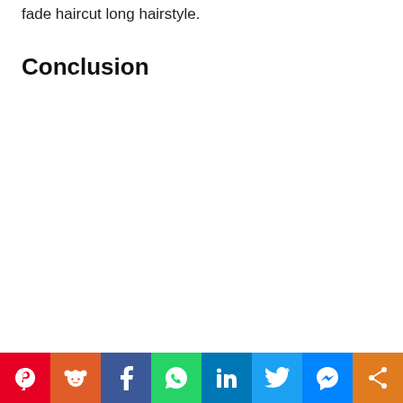fade haircut long hairstyle.
Conclusion
[Figure (other): Social media share bar with icons for Pinterest, Reddit, Facebook, WhatsApp, LinkedIn, Twitter, Messenger, and a generic share button]